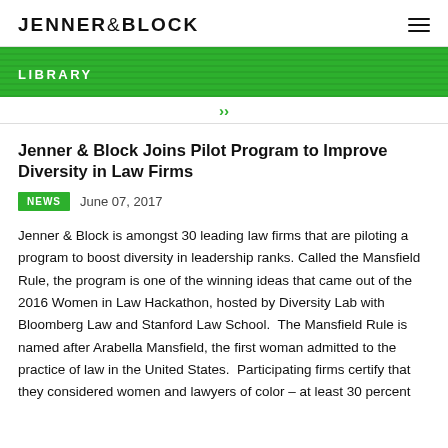JENNER & BLOCK
LIBRARY
Jenner & Block Joins Pilot Program to Improve Diversity in Law Firms
NEWS  June 07, 2017
Jenner & Block is amongst 30 leading law firms that are piloting a program to boost diversity in leadership ranks. Called the Mansfield Rule, the program is one of the winning ideas that came out of the 2016 Women in Law Hackathon, hosted by Diversity Lab with Bloomberg Law and Stanford Law School.  The Mansfield Rule is named after Arabella Mansfield, the first woman admitted to the practice of law in the United States.  Participating firms certify that they considered women and lawyers of color – at least 30 percent